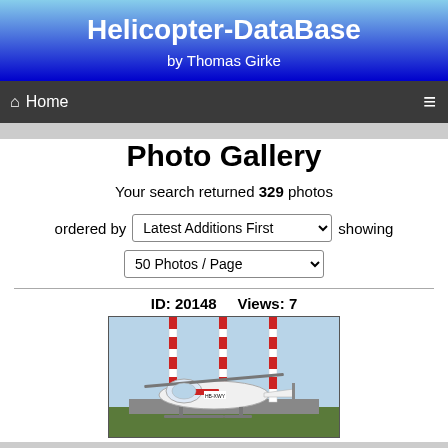Helicopter-DataBase
by Thomas Girke
Home
Photo Gallery
Your search returned 329 photos
ordered by  Latest Additions First  showing
50 Photos / Page
ID: 20148    Views: 7
[Figure (photo): Helicopter on ground with large red-and-white striped masts or poles in the background, appears to be a white helicopter with red markings on a tarmac]